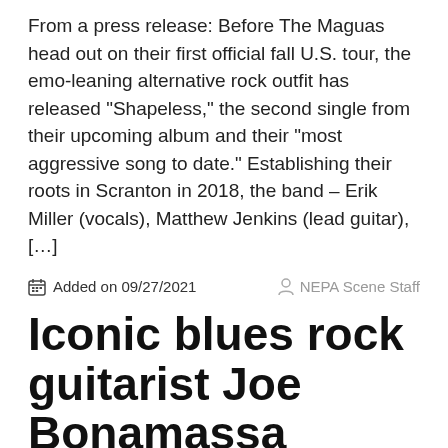From a press release: Before The Maguas head out on their first official fall U.S. tour, the emo-leaning alternative rock outfit has released “Shapeless,” the second single from their upcoming album and their “most aggressive song to date.” Establishing their roots in Scranton in 2018, the band – Erik Miller (vocals), Matthew Jenkins (lead guitar), […]
Added on 09/27/2021   NEPA Scene Staff
Iconic blues rock guitarist Joe Bonamassa returns to F.M. Kirby Center in Wilkes-Barre on